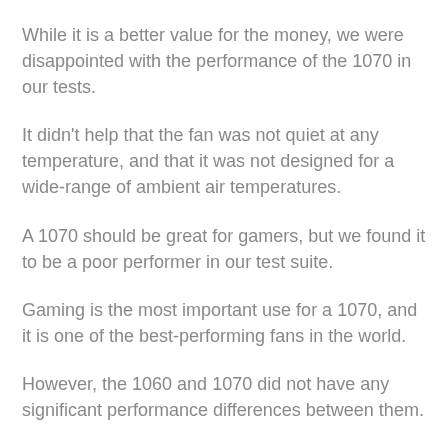While it is a better value for the money, we were disappointed with the performance of the 1070 in our tests.
It didn't help that the fan was not quiet at any temperature, and that it was not designed for a wide-range of ambient air temperatures.
A 1070 should be great for gamers, but we found it to be a poor performer in our test suite.
Gaming is the most important use for a 1070, and it is one of the best-performing fans in the world.
However, the 1060 and 1070 did not have any significant performance differences between them.
This is not surprising, since they are based on very similar designs.
The biggest difference between the 1010 and 1060 is the fan…